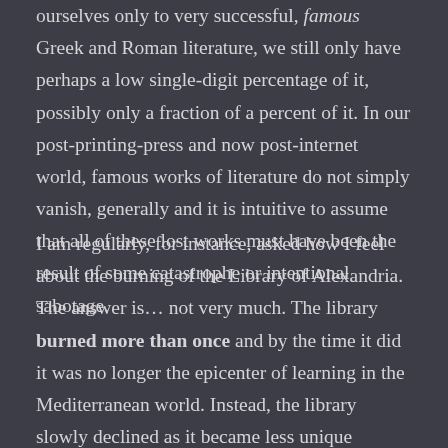ourselves only to very successful, famous Greek and Roman literature, we still only have perhaps a low single-digit percentage of it, possibly only a fraction of a percent of it. In our post-printing-press and now post-internet world, famous works of literature do not simply vanish, generally and it is intuitive to assume that all of these lost works must have been the result of some catastrophe or intentional sabotage.
I am regularly, for instance, asked how I feel about the burning of the Library of Alexandria. The answer is… not very much. The library burned more than once and by the time it did it was no longer the epicenter of learning in the Mediterranean world. Instead, the library slowly declined as it became less unique because other libraries amassed considerable collections. There was